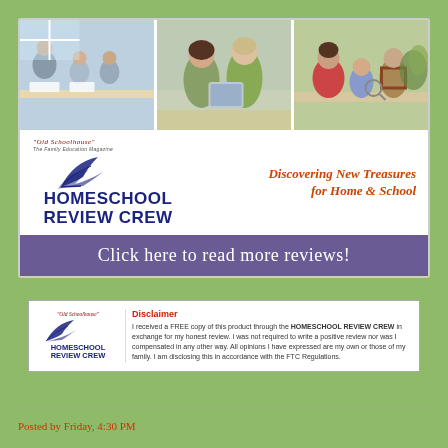[Figure (illustration): Homeschool Review Crew banner with three photos showing adults and children learning together, logo, and tagline 'Discovering New Treasures for Home & School']
Click here to read more reviews!
Disclaimer
I received a FREE copy of this product through the HOMESCHOOL REVIEW CREW in exchange for my honest review. I was not required to write a positive review nor was I compensated in any other way. All opinions I have expressed are my own or those of my family. I am disclosing this in accordance with the FTC Regulations.
Posted by Friday, 4:30 PM